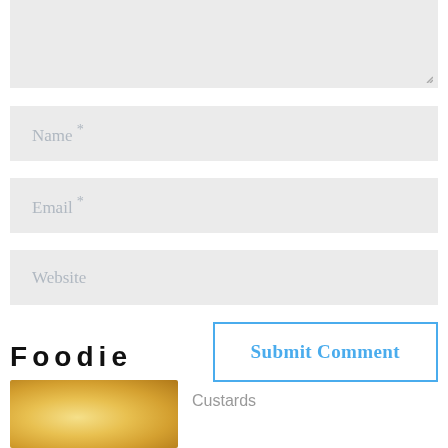[Figure (screenshot): Comment form textarea (grey, empty) with resize handle at bottom right]
Name *
Email *
Website
Submit Comment
Foodie
[Figure (photo): Close-up photo of custard or cream dessert, warm yellow/golden tones]
Custards